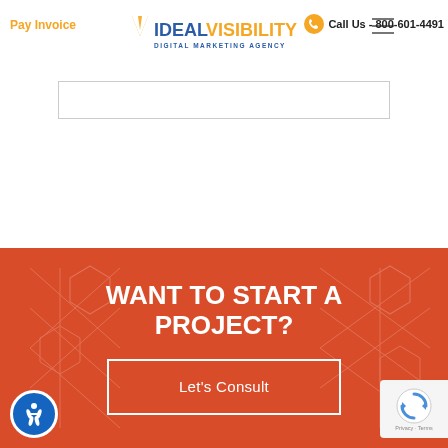Pay Invoice | IdealVisibility Digital Marketing Agency | Call Us - 800-601-4491
[Figure (screenshot): Input/search box, light gray bordered rectangle]
[Figure (illustration): Red CTA section with geometric hexagon background pattern]
WANT TO START A PROJECT?
Let's Consult